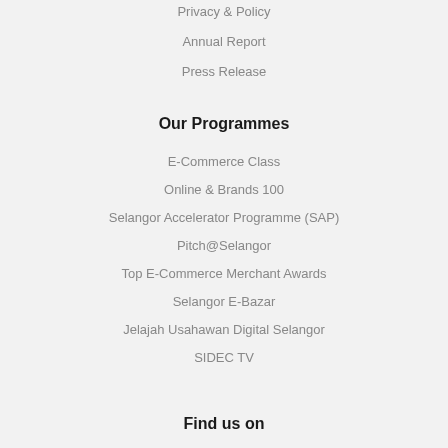Privacy & Policy
Annual Report
Press Release
Our Programmes
E-Commerce Class
Online & Brands 100
Selangor Accelerator Programme (SAP)
Pitch@Selangor
Top E-Commerce Merchant Awards
Selangor E-Bazar
Jelajah Usahawan Digital Selangor
SIDEC TV
Find us on